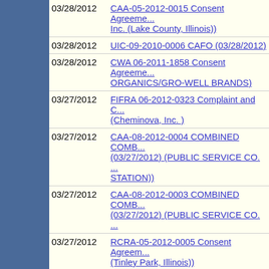03/28/2012 - CAA-05-2012-0015 Consent Agreement ... Inc. (Lake County, Illinois))
03/28/2012 - UIC-09-2010-0006 CAFO (03/28/2012)
03/28/2012 - CWA 06-2011-1858 Consent Agreement ... ORGANICS/GRO-WELL BRANDS)
03/27/2012 - FIFRA 06-2012-0323 Complaint and C... (Cheminova, Inc.)
03/27/2012 - CAA-08-2012-0004 COMBINED COMB... (03/27/2012) (PUBLIC SERVICE CO. ... STATION))
03/27/2012 - CAA-08-2012-0003 COMBINED COMB... (03/27/2012) (PUBLIC SERVICE CO. ...
03/27/2012 - RCRA-05-2012-0005 Consent Agreem... (Tinley Park, Illinois))
03/27/2012 - RCRA-01-2011-0130 Consent Agreem... Company, Inc.)
03/26/2012 - TSCA-07-2012-0013 CONSENT AGRE... WAREHOUSES CORPORATION)
03/26/2012 - RCRA-10-2012-0063 EXPEDITED SE... NOAA)
03/26/2012 - RCRA-02-2011-7101 Consent agreem...
03/26/2012 - CAA-04-2012-1511(b) CAFO (03/26/20...
03/26/2012 - FIFRA-05-2012-0006 Consent Agreem... (Burr Ridge, Illinois))
03/26/2012 - FIFRA-05-2012-0007 Consent Agreem... (Phoenix, Arizona))
03/26/2012 - FIFRA-02-2012-5303 Consent agreem...